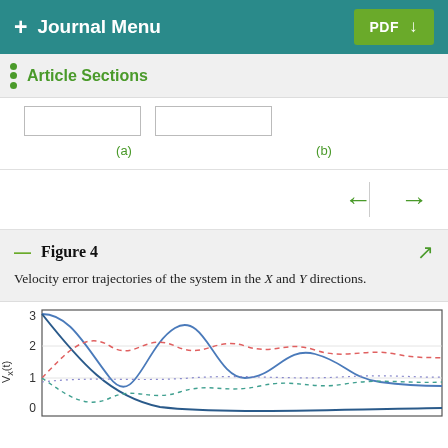+ Journal Menu | PDF ↓
Article Sections
(a)   (b)
Figure 4
Velocity error trajectories of the system in the X and Y directions.
[Figure (continuous-plot): Partial view of a line chart showing velocity error trajectories V_x(t) vs time, with y-axis values from 0 to 3, multiple oscillating and decaying curves in blue, red dashed, and teal colors.]